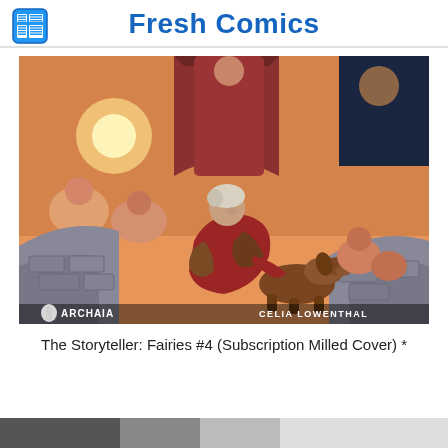Fresh Comics
[Figure (illustration): Comic book cover illustration showing an elderly woman in red medieval clothing sitting among grey stone walls, petting a brown dog. Behind her is a warmly lit fantasy scene with multiple figures in orange and pink tones. Text at the bottom reads 'ARCHAIA' with a crest logo on the left and 'CELIA LOWENTHAL' on the right.]
The Storyteller: Fairies #4 (Subscription Milled Cover) *